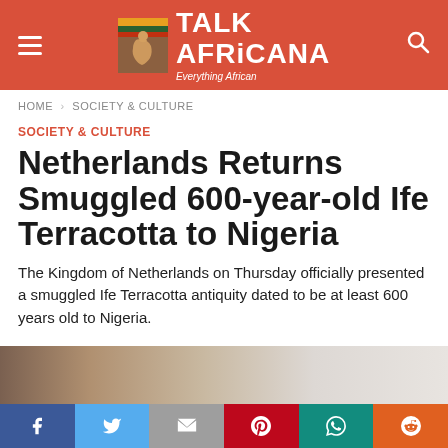Talk Africana — Everything African
HOME > SOCIETY & CULTURE
SOCIETY & CULTURE
Netherlands Returns Smuggled 600-year-old Ife Terracotta to Nigeria
The Kingdom of Netherlands on Thursday officially presented a smuggled Ife Terracotta antiquity dated to be at least 600 years old to Nigeria.
[Figure (photo): Partial photo of the Ife Terracotta artifact being held, blurred background]
[Figure (infographic): Social media share buttons bar: Facebook, Twitter, Gmail, Pinterest, WhatsApp, Reddit]